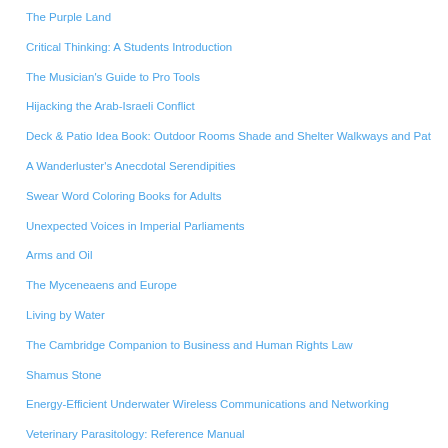The Purple Land
Critical Thinking: A Students Introduction
The Musician's Guide to Pro Tools
Hijacking the Arab-Israeli Conflict
Deck & Patio Idea Book: Outdoor Rooms Shade and Shelter Walkways and Pat
A Wanderluster's Anecdotal Serendipities
Swear Word Coloring Books for Adults
Unexpected Voices in Imperial Parliaments
Arms and Oil
The Myceneaens and Europe
Living by Water
The Cambridge Companion to Business and Human Rights Law
Shamus Stone
Energy-Efficient Underwater Wireless Communications and Networking
Veterinary Parasitology: Reference Manual
Vêtements pour enfants : Patrons en taille réelle de la naissance à 8 ans